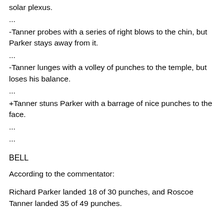solar plexus.
...
-Tanner probes with a series of right blows to the chin, but Parker stays away from it.
...
-Tanner lunges with a volley of punches to the temple, but loses his balance.
...
+Tanner stuns Parker with a barrage of nice punches to the face.
...
...
BELL
According to the commentator:
Richard Parker landed 18 of 30 punches, and Roscoe Tanner landed 35 of 49 punches.